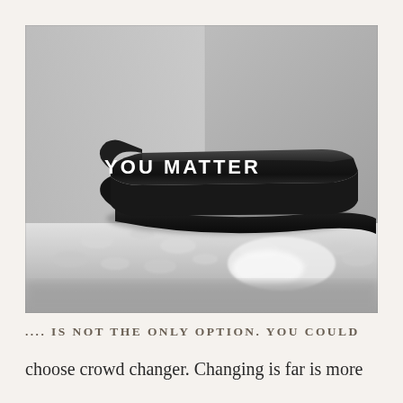[Figure (photo): Black and white photograph of a black rubber wristband/bracelet with 'YOU MATTER' written in white bold letters, resting on a textured fabric surface (towel or cloth). The background shows a corner of a room.]
.... IS NOT THE ONLY OPTION. YOU COULD
choose crowd changer. Changing is far is more